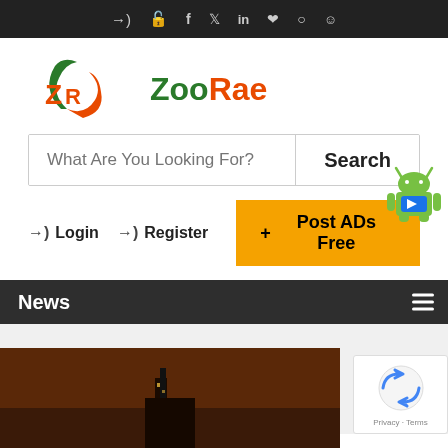ZooRae website top navigation bar with social media icons: login, key/unlock, Facebook, Twitter, LinkedIn, Pinterest, Instagram, Reddit
[Figure (logo): ZooRae logo with stylized ZR monogram and swoosh in orange and green, followed by text ZooRae in green and orange]
What Are You Looking For? Search
Login   Register   + Post ADs Free
News
[Figure (photo): News section showing a dark reddish-brown image with a building silhouette]
[Figure (other): reCAPTCHA badge with Privacy and Terms links]